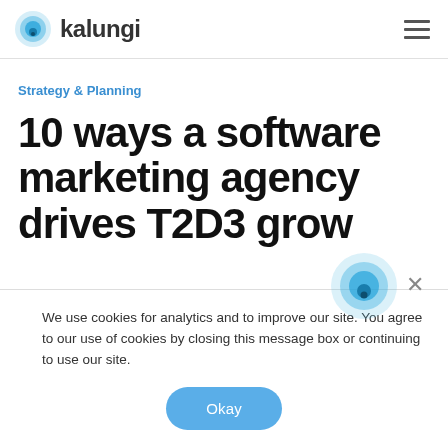kalungi
Strategy & Planning
10 ways a software marketing agency drives T2D3 growth
We use cookies for analytics and to improve our site. You agree to our use of cookies by closing this message box or continuing to use our site.